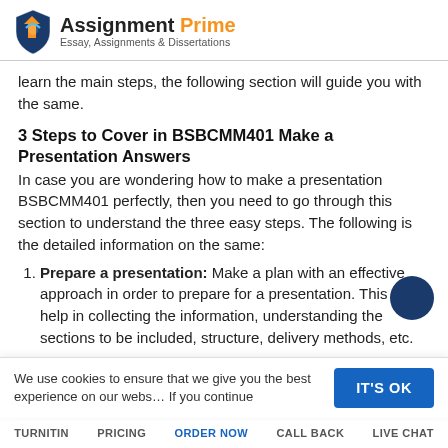Assignment Prime — Essay, Assignments & Dissertations
learn the main steps, the following section will guide you with the same.
3 Steps to Cover in BSBCMM401 Make a Presentation Answers
In case you are wondering how to make a presentation BSBCMM401 perfectly, then you need to go through this section to understand the three easy steps. The following is the detailed information on the same:
Prepare a presentation: Make a plan with an effective approach in order to prepare for a presentation. This will help in collecting the information, understanding the sections to be included, structure, delivery methods, etc.
Deliver a presentation: After the presentation is ready, it is important to now deliver the same to the audience
We use cookies to ensure that we give you the best experience on our website. If you continue
TURNITIN    PRICING    ORDER NOW    CALL BACK    LIVE CHAT